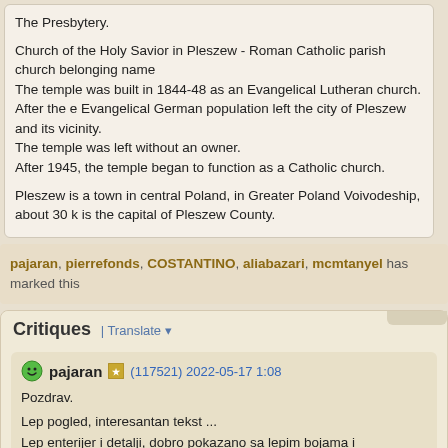The Presbytery.

Church of the Holy Savior in Pleszew - Roman Catholic parish church belonging name
The temple was built in 1844-48 as an Evangelical Lutheran church. After the e Evangelical German population left the city of Pleszew and its vicinity.
The temple was left without an owner.
After 1945, the temple began to function as a Catholic church.

Pleszew is a town in central Poland, in Greater Poland Voivodeship, about 30 k is the capital of Pleszew County.
pajaran, pierrefonds, COSTANTINO, aliabazari, mcmtanyel has marked this
Critiques | Translate
pajaran (117521) 2022-05-17 1:08

Pozdrav.

Lep pogled, interesantan tekst ...
Lep enterijer i detalji, dobro pokazano sa lepim bojama i kontrastom.
Lep deo stare Crkve. Lepo raspece i veliki luster.
Dobar rad, lepa fotografija.